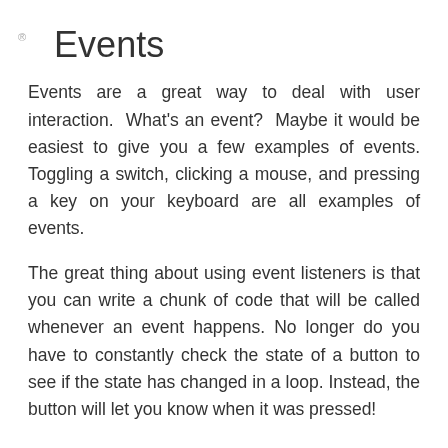Events
Events are a great way to deal with user interaction.  What's an event?  Maybe it would be easiest to give you a few examples of events.  Toggling a switch, clicking a mouse, and pressing a key on your keyboard are all examples of events.
The great thing about using event listeners is that you can write a chunk of code that will be called whenever an event happens. No longer do you have to constantly check the state of a button to see if the state has changed in a loop. Instead, the button will let you know when it was pressed!
Streams
The node.js stream API combines the power of